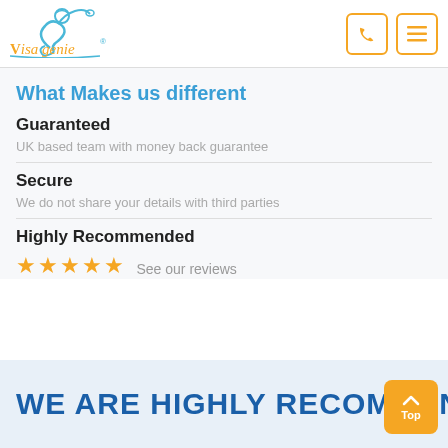[Figure (logo): Visa Genie logo with genie character and cursive text]
What Makes us different
Guaranteed
UK based team with money back guarantee
Secure
We do not share your details with third parties
Highly Recommended
★★★★★ See our reviews
WE ARE HIGHLY RECOMMENDE…